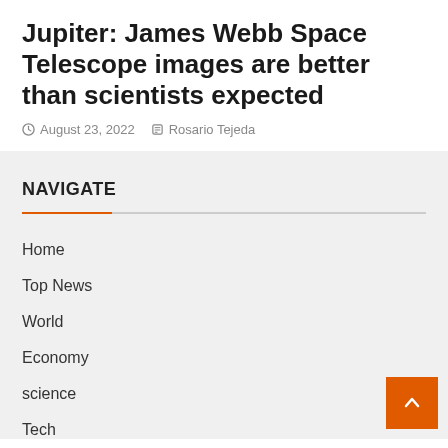Jupiter: James Webb Space Telescope images are better than scientists expected
August 23, 2022   Rosario Tejeda
NAVIGATE
Home
Top News
World
Economy
science
Tech
sport
entertainment